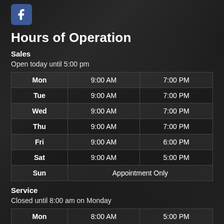[Figure (logo): Facebook logo icon, blue square with white 'f']
Hours of Operation
Sales
Open today until 5:00 pm
| Day | Open | Close |
| --- | --- | --- |
| Mon | 9:00 AM | 7:00 PM |
| Tue | 9:00 AM | 7:00 PM |
| Wed | 9:00 AM | 7:00 PM |
| Thu | 9:00 AM | 7:00 PM |
| Fri | 9:00 AM | 6:00 PM |
| Sat | 9:00 AM | 5:00 PM |
| Sun | Appointment Only |  |
Service
Closed until 8:00 am on Monday
| Day | Open | Close |
| --- | --- | --- |
| Mon | 8:00 AM | 5:00 PM |